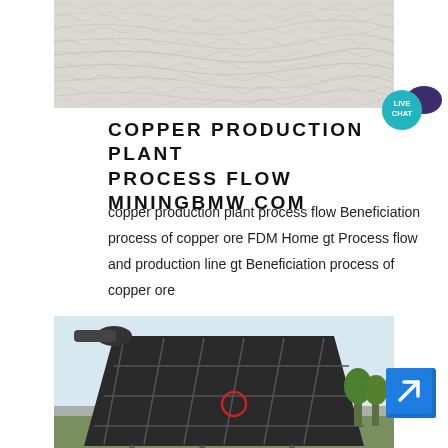[Figure (photo): Close-up photo of white/light grey powdery or granular material with ridged texture, likely copper ore or mineral powder]
[Figure (illustration): Live Chat badge with teal/cyan background and speech bubble icon]
COPPER PRODUCTION PLANT PROCESS FLOW MININGBMW COM
copper production plant process flow Beneficiation process of copper ore FDM Home gt Process flow and production line gt Beneficiation process of copper ore ...
[Figure (photo): Industrial mining machinery - large inclined conveyor or screen structure with metal framework, photographed outdoors]
[Figure (illustration): Blue arrow/redirect icon badge in lower right corner]